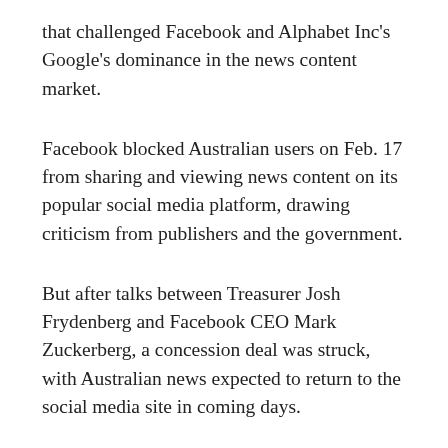that challenged Facebook and Alphabet Inc's Google's dominance in the news content market.
Facebook blocked Australian users on Feb. 17 from sharing and viewing news content on its popular social media platform, drawing criticism from publishers and the government.
But after talks between Treasurer Josh Frydenberg and Facebook CEO Mark Zuckerberg, a concession deal was struck, with Australian news expected to return to the social media site in coming days.
“Facebook has refriended Australia, and Australian news will be restored to the platform for all”